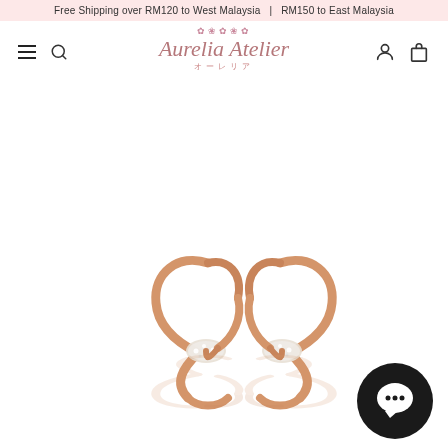Free Shipping over RM120 to West Malaysia  |  RM150 to East Malaysia
[Figure (logo): Aurelia Atelier brand logo with decorative floral elements and Japanese text subtitle]
[Figure (photo): Two rose gold knot earrings with crystal embellishments shown with reflections below, displayed on white background]